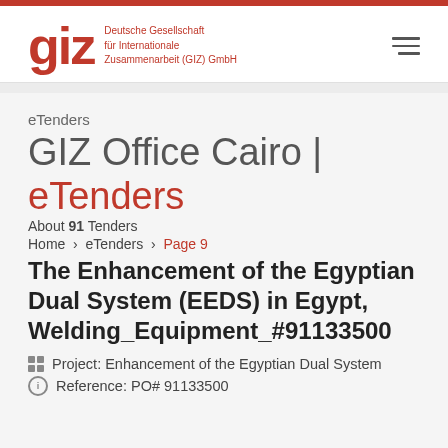[Figure (logo): GIZ logo with red 'giz' lettering and tagline 'Deutsche Gesellschaft für Internationale Zusammenarbeit (GIZ) GmbH' in red]
eTenders
GIZ Office Cairo | eTenders
About 91 Tenders
Home > eTenders > Page 9
The Enhancement of the Egyptian Dual System (EEDS) in Egypt, Welding_Equipment_#91133500
Project: Enhancement of the Egyptian Dual System
Reference: PO# 91133500